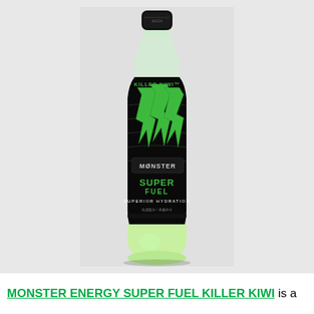[Figure (photo): A bottle of Monster Energy Super Fuel Killer Kiwi, a black bottle with green Monster claw logo and neon green liquid visible at the bottom, with a black cap, on a light gray background.]
MONSTER ENERGY SUPER FUEL KILLER KIWI is a